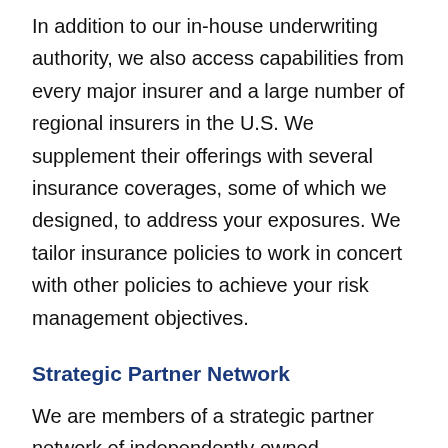In addition to our in-house underwriting authority, we also access capabilities from every major insurer and a large number of regional insurers in the U.S. We supplement their offerings with several insurance coverages, some of which we designed, to address your exposures. We tailor insurance policies to work in concert with other policies to achieve your risk management objectives.
Strategic Partner Network
We are members of a strategic partner network of independently owned companies providing various services to food companies. Network